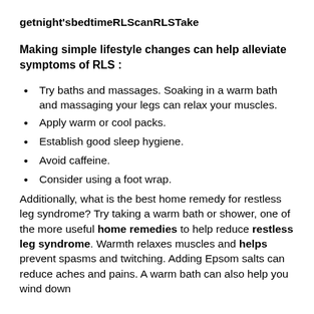getnight'sbedtimeRLScanRLSTake
Making simple lifestyle changes can help alleviate symptoms of RLS :
Try baths and massages. Soaking in a warm bath and massaging your legs can relax your muscles.
Apply warm or cool packs.
Establish good sleep hygiene.
Avoid caffeine.
Consider using a foot wrap.
Additionally, what is the best home remedy for restless leg syndrome? Try taking a warm bath or shower, one of the more useful home remedies to help reduce restless leg syndrome. Warmth relaxes muscles and helps prevent spasms and twitching. Adding Epsom salts can reduce aches and pains. A warm bath can also help you wind down